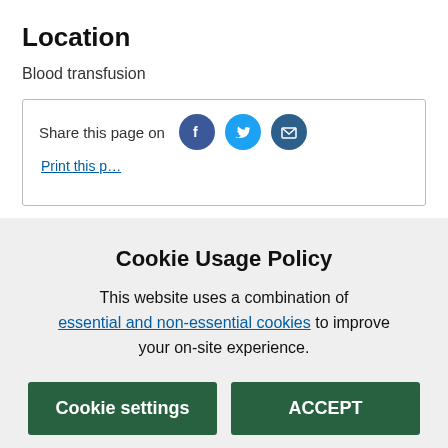Location
Blood transfusion
Share this page on
Cookie Usage Policy
This website uses a combination of essential and non-essential cookies to improve your on-site experience.
Cookie settings
ACCEPT